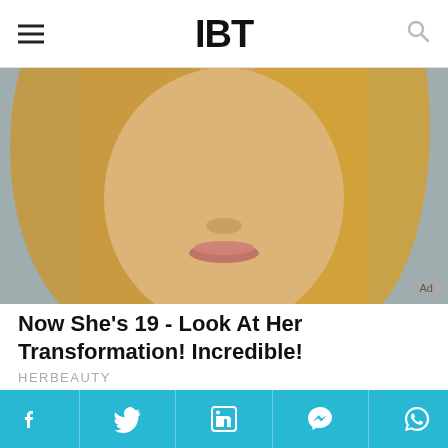IBT
[Figure (photo): Close-up photo of a young blonde woman's face, cropped to nose and lips area, with an 'Ad' badge in bottom right corner]
Now She's 19 - Look At Her Transformation! Incredible!
HERBEAUTY
[Figure (infographic): Meme image comparing distance: left side shows muscular buff Doge dog with label 'Distance from Australia to Ukraine: ~13000 km', right side shows small regular Doge dog with label 'Distance from Germany to Ukraine: ~1500 km']
Social share bar: Facebook, Twitter, LinkedIn, Messenger, WhatsApp